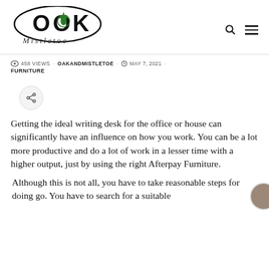[Figure (logo): Oak and Mistletoe logo with acorn icon and stylized text 'OOK Mistletoe']
458 VIEWS · OAKANDMISTLETOE · MAY 7, 2021 · FURNITURE
[Figure (other): Share button icon (circular button with share symbol)]
Getting the ideal writing desk for the office or house can significantly have an influence on how you work. You can be a lot more productive and do a lot of work in a lesser time with a higher output, just by using the right Afterpay Furniture.
Although this is not all, you have to take reasonable steps for doing go. You have to search for a suitable